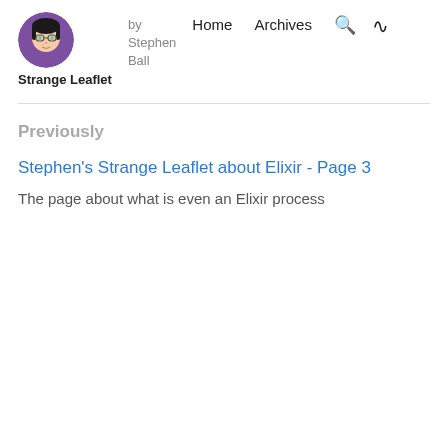[Figure (illustration): Circular avatar/logo image of a cartoon character with glasses and dark hair on a purple background]
Strange Leaflet
by Stephen Ball
Home   Archives
Previously
Stephen's Strange Leaflet about Elixir - Page 3
The page about what is even an Elixir process